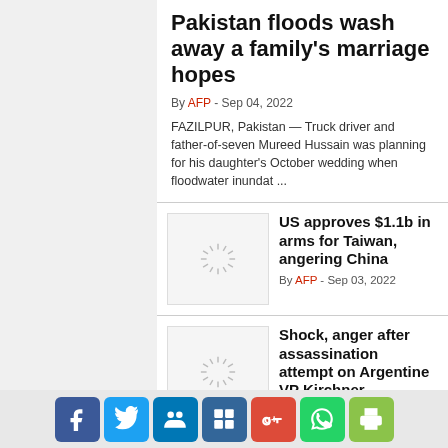Pakistan floods wash away a family's marriage hopes
By AFP - Sep 04, 2022
FAZILPUR, Pakistan — Truck driver and father-of-seven Mureed Hussain was planning for his daughter's October wedding when floodwater inundat ...
[Figure (photo): Loading spinner thumbnail for Taiwan arms article]
US approves $1.1b in arms for Taiwan, angering China
By AFP - Sep 03, 2022
[Figure (photo): Loading spinner thumbnail for Argentina VP article]
Shock, anger after assassination attempt on Argentine VP Kirchner
Social share buttons: Facebook, Twitter, LinkedIn, Delicious, Google+, WhatsApp, Print